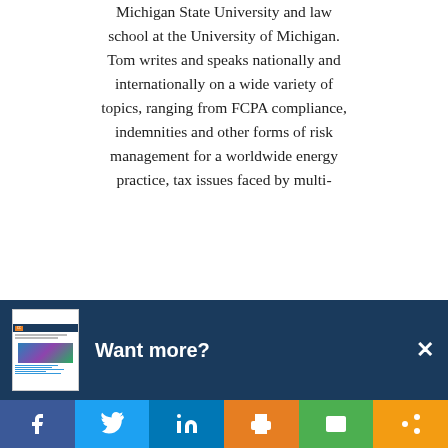Michigan State University and law school at the University of Michigan. Tom writes and speaks nationally and internationally on a wide variety of topics, ranging from FCPA compliance, indemnities and other forms of risk management for a worldwide energy practice, tax issues faced by multi-
[Figure (screenshot): A 'Want more?' promotional banner overlay with a dark navy blue background, showing a thumbnail image of a newsletter/document on the left, bold white text 'Want more?' in the center, and a white X close button on the right.]
[Figure (infographic): Social media sharing bar at the bottom with six buttons: Facebook (dark blue), Twitter (light blue), LinkedIn (medium blue), Print (orange), Email (green), Share (orange/yellow).]